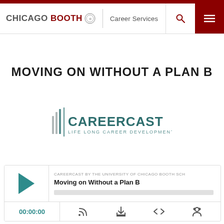CHICAGO BOOTH | Career Services
MOVING ON WITHOUT A PLAN B
[Figure (logo): CareerCast — Life Long Career Development logo with vertical bar graphic accent]
[Figure (screenshot): Audio player widget with play button, title 'Moving on Without a Plan B', progress bar, timestamp 00:00:00, and controls for subscribe, download, embed, and share]